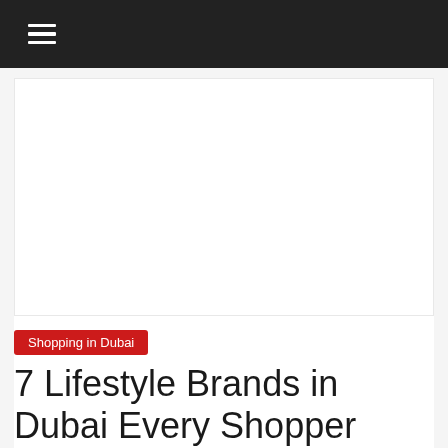≡
[Figure (other): Advertisement placeholder area, white rectangle with light border]
Shopping in Dubai
7 Lifestyle Brands in Dubai Every Shopper Loves